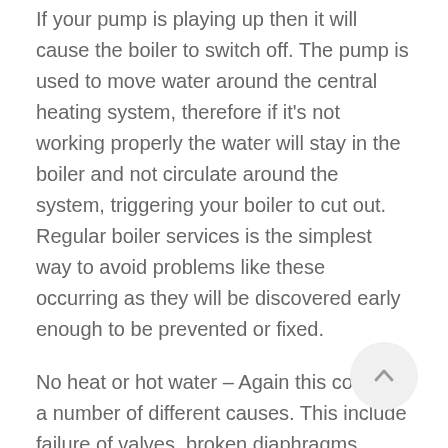If your pump is playing up then it will cause the boiler to switch off. The pump is used to move water around the central heating system, therefore if it's not working properly the water will stay in the boiler and not circulate around the system, triggering your boiler to cut out. Regular boiler services is the simplest way to avoid problems like these occurring as they will be discovered early enough to be prevented or fixed.
No heat or hot water – Again this could be a number of different causes. This include failure of valves, broken diaphragms, airlocks, thermostat issues and low pressure levels.